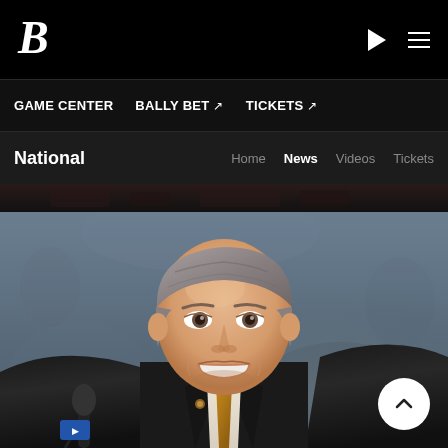B (logo) | Play button | Menu icon
GAME CENTER | BALLY BET ↗ | TICKETS ↗
National — Home | News | Videos | Tickets
[Figure (photo): A smiling middle-aged man with gray hair wearing a black suit jacket, white shirt, and gold tie, standing at a microphone at what appears to be a press conference. Blue background.]